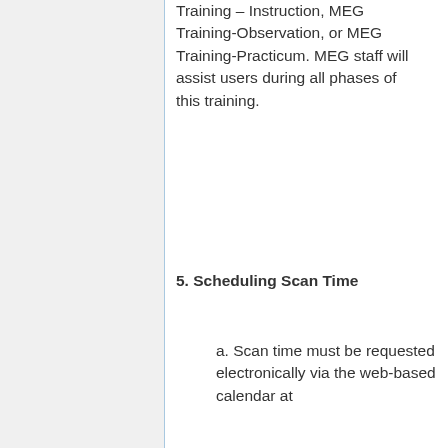Training – Instruction, MEG Training-Observation, or MEG Training-Practicum. MEG staff will assist users during all phases of this training.
5. Scheduling Scan Time
a. Scan time must be requested electronically via the web-based calendar at